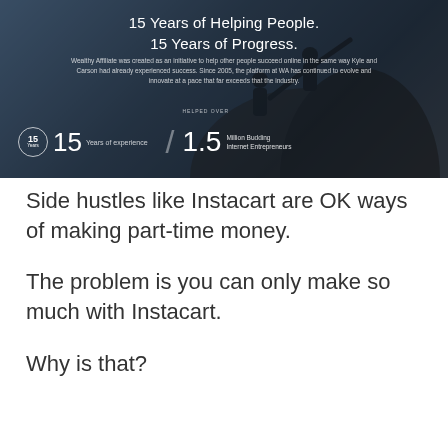[Figure (photo): Banner image showing silhouette of people climbing a rock, with overlay text '15 Years of Helping People. 15 Years of Progress.' and statistics: 15 Years of experience, 1.5 Million Budding Internet Entrepreneurs helped over.]
Side hustles like Instacart are OK ways of making part-time money.
The problem is you can only make so much with Instacart.
Why is that?